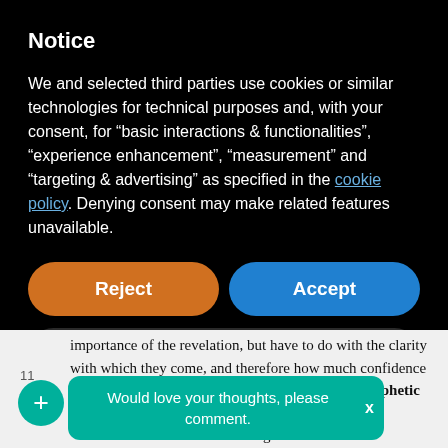Notice
We and selected third parties use cookies or similar technologies for technical purposes and, with your consent, for “basic interactions & functionalities”, “experience enhancement”, “measurement” and “targeting & advertising” as specified in the cookie policy. Denying consent may make related features unavailable.
Reject
Accept
Learn more and customize
importance of the revelation, but have to do with the clarity with which they come, and therefore how much confidence we can have in their purity. The lowest level of prophetic
r levels
ring the
audible voice of God, like angelic visitations,
Would love your thoughts, please comment.